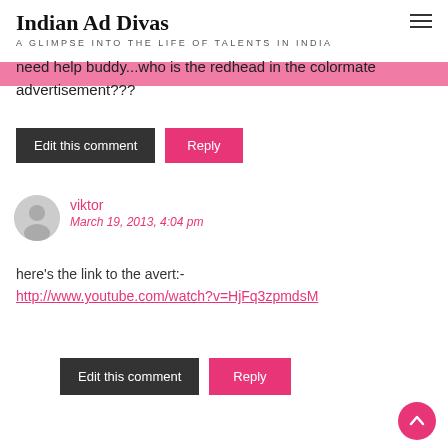Indian Ad Divas
A GLIMPSE INTO THE LIFE OF TALENTS IN INDIA
need help buddy...who is the redhead in the colormate advertisement???
Edit this comment   Reply
viktor
March 19, 2013, 4:04 pm
here's the link to the avert:-
http://www.youtube.com/watch?v=HjFq3zpmdsM
Edit this comment   Reply